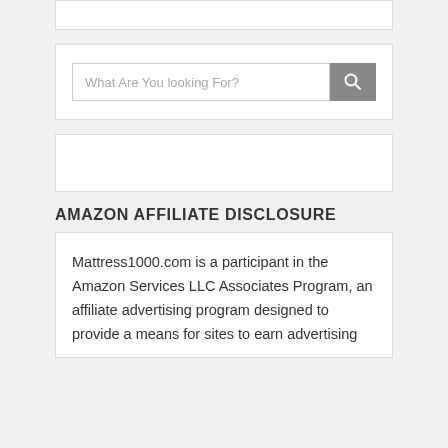[Figure (other): White widget box placeholder at top]
[Figure (other): Search bar widget with text input 'What Are You looking For?' and gray search button]
[Figure (other): White widget box placeholder]
AMAZON AFFILIATE DISCLOSURE
Mattress1000.com is a participant in the Amazon Services LLC Associates Program, an affiliate advertising program designed to provide a means for sites to earn advertising